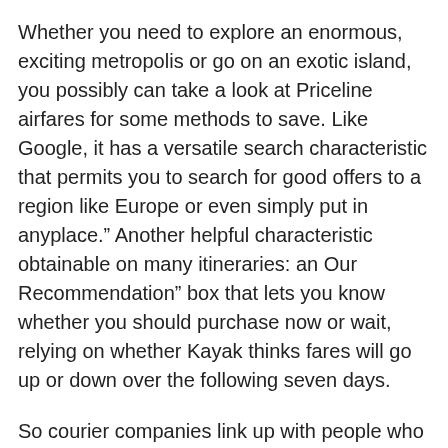Whether you need to explore an enormous, exciting metropolis or go on an exotic island, you possibly can take a look at Priceline airfares for some methods to save. Like Google, it has a versatile search characteristic that permits you to search for good offers to a region like Europe or even simply put in anyplace.” Another helpful characteristic obtainable on many itineraries: an Our Recommendation” box that lets you know whether you should purchase now or wait, relying on whether Kayak thinks fares will go up or down over the following seven days.
So courier companies link up with people who need low-cost airfares so that they’ll send their packages as baggage and pace up the method. If you wish to save money on airfare, don’t be inflexible on the time of day you need to journey. First, all air travel needs to be booked more than thirty days upfront if possible.